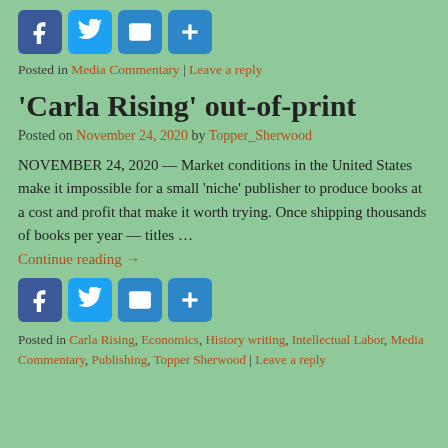[Figure (other): Row of social sharing icon buttons: Facebook (f), Twitter (bird), Mail (envelope), Plus (+)]
Posted in Media Commentary | Leave a reply
'Carla Rising' out-of-print
Posted on November 24, 2020 by Topper_Sherwood
NOVEMBER 24, 2020 — Market conditions in the United States make it impossible for a small 'niche' publisher to produce books at a cost and profit that make it worth trying. Once shipping thousands of books per year — titles …
Continue reading →
[Figure (other): Row of social sharing icon buttons: Facebook (f), Twitter (bird), Mail (envelope), Plus (+)]
Posted in Carla Rising, Economics, History writing, Intellectual Labor, Media Commentary, Publishing, Topper Sherwood | Leave a reply